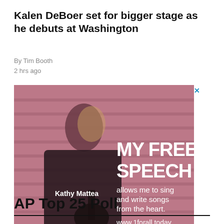Kalen DeBoer set for bigger stage as he debuts at Washington
By Tim Booth
2 hrs ago
[Figure (photo): Advertisement featuring Kathy Mattea with guitar against a pink-toned wooden background. Text reads: MY FREE SPEECH allows me to sing and write songs from the heart. www.1forall.today]
AP Top 25 Poll